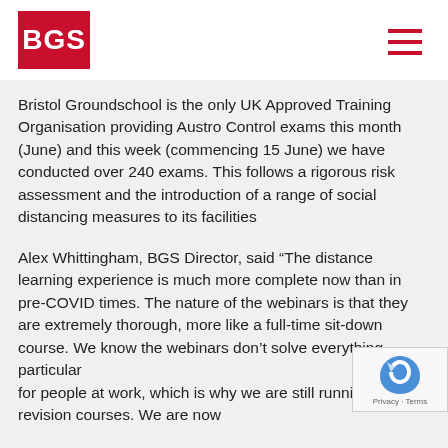BGS
Bristol Groundschool is the only UK Approved Training Organisation providing Austro Control exams this month (June) and this week (commencing 15 June) we have conducted over 240 exams. This follows a rigorous risk assessment and the introduction of a range of social distancing measures to its facilities
Alex Whittingham, BGS Director, said “The distance learning experience is much more complete now than in pre-COVID times. The nature of the webinars is that they are extremely thorough, more like a full-time sit-down course. We know the webinars don’t solve everything – particu for people at work, which is why we are still running online revision courses. We are now